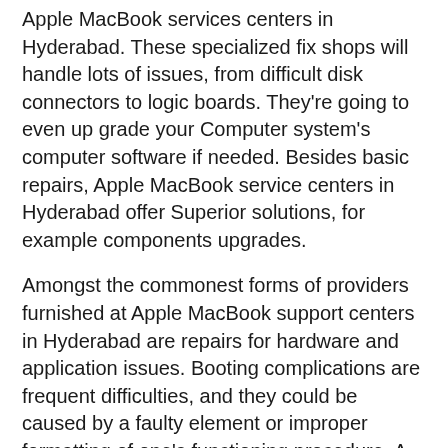Apple MacBook services centers in Hyderabad. These specialized fix shops will handle lots of issues, from difficult disk connectors to logic boards. They're going to even up grade your Computer system's computer software if needed. Besides basic repairs, Apple MacBook service centers in Hyderabad offer Superior solutions, for example components upgrades.
Amongst the commonest forms of providers furnished at Apple MacBook support centers in Hyderabad are repairs for hardware and application issues. Booting complications are frequent difficulties, and they could be caused by a faulty element or improper formatting of one's functioning procedure. A technician will Verify your notebook to find out if you are still protected by your warranty and provide an proper Resolution. Sometimes, the technician will switch every one of the laptop's hardware, causing a significant bill.
Apple MacBook services centers in Bangalore